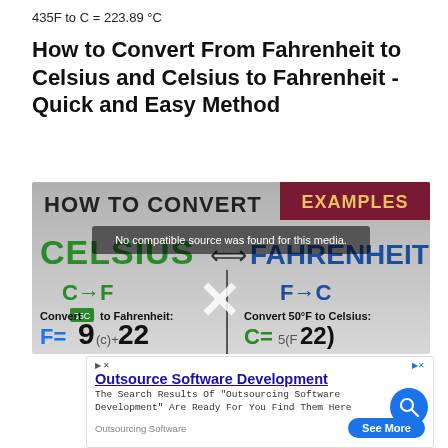435F to C = 223.89 °C
How to Convert From Fahrenheit to Celsius and Celsius to Fahrenheit - Quick and Easy Method
[Figure (screenshot): Screenshot of a video thumbnail/player showing 'HOW TO CONVERT' with 'CELSIUS ↔ FAHRENHEIT', C→F and F→C conversion examples, overlaid with 'No compatible source was found for this media.' and a large X icon. Right side shows 'EXAMPLES' in maroon header.]
[Figure (screenshot): Advertisement for Outsource Software Development showing title link, description text 'The Search Results Of Outsourcing Software Development Are Ready For You Find Them Here', source label 'Outsourcing Software' and a blue 'See More' button.]